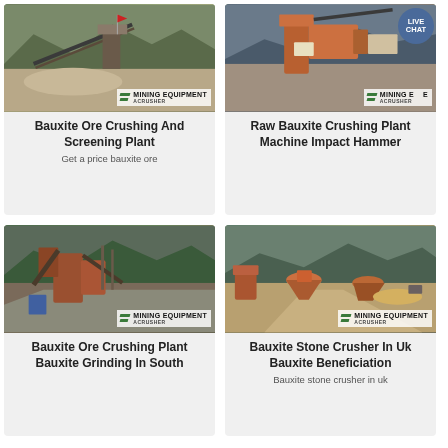[Figure (photo): Mining equipment / crushing plant with conveyors against mountain background, MINING EQUIPMENT ACRUSHER watermark]
Bauxite Ore Crushing And Screening Plant
Get a price bauxite ore
[Figure (photo): Impact hammer crushing plant machinery, orange equipment against mountain, MINING EQUIPMENT ACRUSHER watermark, LIVE CHAT bubble]
Raw Bauxite Crushing Plant Machine Impact Hammer
[Figure (photo): Rusty orange crushing and grinding plant machinery beside road with green hills, MINING EQUIPMENT ACRUSHER watermark]
Bauxite Ore Crushing Plant Bauxite Grinding In South
[Figure (photo): Quarry site with cone crusher and heavy equipment on dirt road with mountains, MINING EQUIPMENT ACRUSHER watermark]
Bauxite Stone Crusher In Uk Bauxite Beneficiation
Bauxite stone crusher in uk